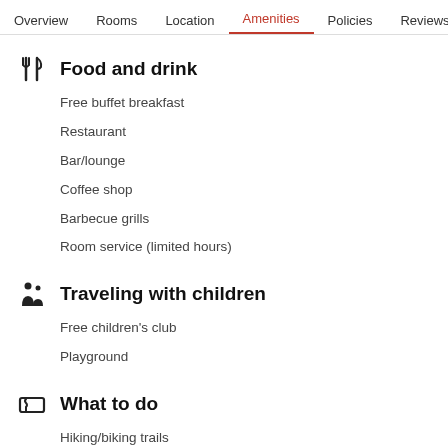Overview  Rooms  Location  Amenities  Policies  Reviews
Food and drink
Free buffet breakfast
Restaurant
Bar/lounge
Coffee shop
Barbecue grills
Room service (limited hours)
Traveling with children
Free children's club
Playground
What to do
Hiking/biking trails
Rock climbing
Mountain biking nearby